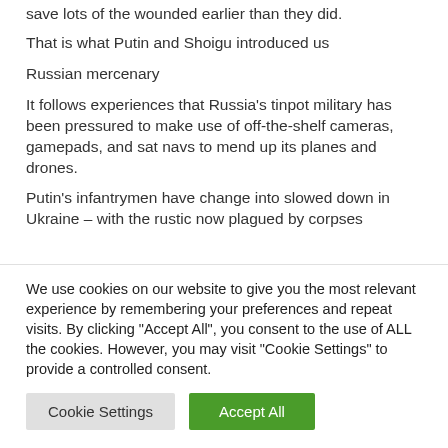save lots of the wounded earlier than they did.
That is what Putin and Shoigu introduced us
Russian mercenary
It follows experiences that Russia's tinpot military has been pressured to make use of off-the-shelf cameras, gamepads, and sat navs to mend up its planes and drones.
Putin's infantrymen have change into slowed down in Ukraine – with the rustic now plagued by corpses
We use cookies on our website to give you the most relevant experience by remembering your preferences and repeat visits. By clicking "Accept All", you consent to the use of ALL the cookies. However, you may visit "Cookie Settings" to provide a controlled consent.
Cookie Settings
Accept All